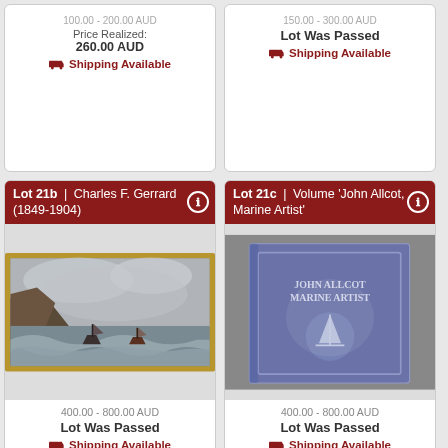Price Realized: 260.00 AUD
Lot Was Passed
Shipping Available
Shipping Available
Lot 21b | Charles F. Gerrard (1849-1904)
[Figure (photo): Oil painting of boats in rough sea near cliffs]
400.00 - 800.00 AUD
Lot Was Passed
Shipping Available
Lot 21c | Volume 'John Allcot, Marine Artist'
[Figure (photo): Blue hardcover book titled John Allcot Marine Artist]
400.00 - 800.00 AUD
Lot Was Passed
Shipping Available